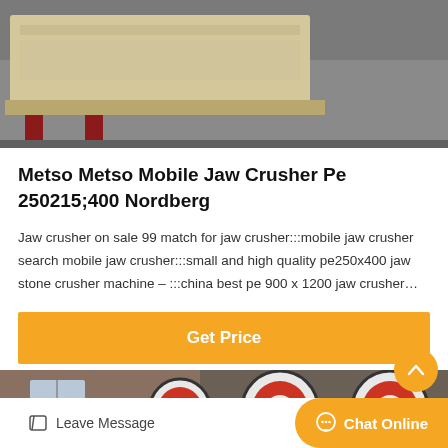[Figure (photo): Industrial jaw crusher machine on a factory floor, beige/cream colored equipment on red metal legs]
Metso Metso Mobile Jaw Crusher Pe 250215;400 Nordberg
Jaw crusher on sale 99 match for jaw crusher:::mobile jaw crusher search mobile jaw crusher:::small and high quality pe250x400 jaw stone crusher machine – :::china best pe 900 x 1200 jaw crusher…
Get Price
[Figure (photo): Large industrial wheels/flywheels with red and white coloring in a factory building]
Leave Message
Chat Online